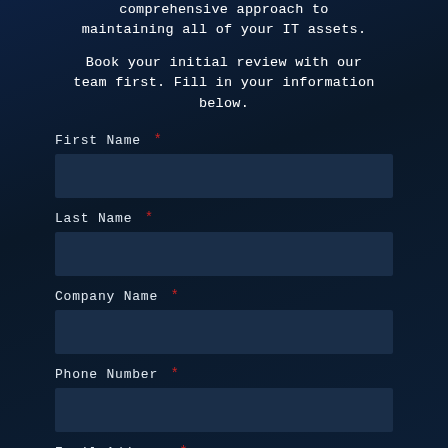comprehensive approach to maintaining all of your IT assets.
Book your initial review with our team first. Fill in your information below.
First Name *
Last Name *
Company Name *
Phone Number *
Email Address *